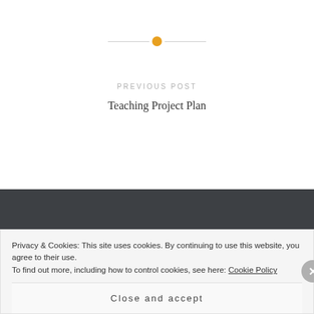[Figure (other): Decorative horizontal divider with an orange/gold circle in the center and thin gray lines on either side]
PREVIOUS POST
Teaching Project Plan
Privacy & Cookies: This site uses cookies. By continuing to use this website, you agree to their use.
To find out more, including how to control cookies, see here: Cookie Policy
Close and accept